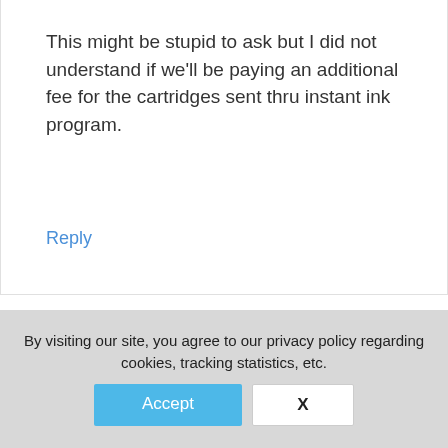This might be stupid to ask but I did not understand if we'll be paying an additional fee for the cartridges sent thru instant ink program.
Reply
Joe
December 25, 2019 at 8:52 pm
By visiting our site, you agree to our privacy policy regarding cookies, tracking statistics, etc.